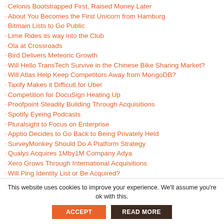Celonis Bootstrapped First, Raised Money Later
About You Becomes the First Unicorn from Hamburg
Bitmain Lists to Go Public
Lime Rides its way into the Club
Ola at Crossroads
Bird Delivers Meteoric Growth
Will Hello TransTech Survive in the Chinese Bike Sharing Market?
Will Atlas Help Keep Competitors Away from MongoDB?
Taxify Makes it Difficult for Uber
Competition for DocuSign Heating Up
Proofpoint Steadily Building Through Acquisitions
Spotify Eyeing Podcasts
Pluralsight to Focus on Enterprise
Apptio Decides to Go Back to Being Privately Held
SurveyMonkey Should Do A Platform Strategy
Qualys Acquires 1Mby1M Company Adya
Xero Grows Through International Acquisitions
Will Ping Identity List or Be Acquired?
This website uses cookies to improve your experience. We'll assume you're ok with this.